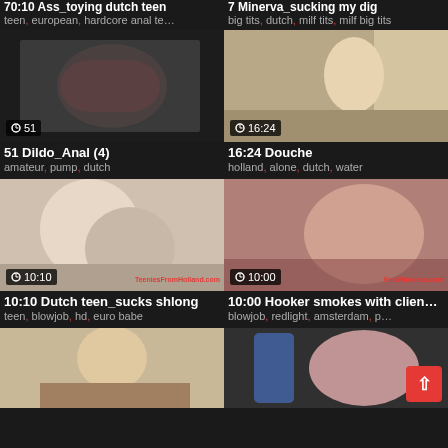70:10 Ass_toying dutch teen — teen, european, hardcore anal te…
7 Minerva_sucking my dig — big tits, dutch, milf tits, milf big tits
[Figure (photo): Video thumbnail showing adult content, duration 51]
51 Dildo_Anal (4)
amateur, pump, dutch
[Figure (photo): Video thumbnail showing adult content, duration 16:24]
16:24 Douche
holland, alone, dutch, water
[Figure (photo): Video thumbnail showing adult content, duration 10:10]
10:10 Dutch teen_sucks shlong
teen, blowjob, hd, euro babe
[Figure (photo): Video thumbnail showing adult content, duration 10:00]
10:00 Hooker smokes with clien…
blowjob, redlight, amsterdam, p…
[Figure (photo): Video thumbnail partial, bottom of page left]
[Figure (photo): Video thumbnail partial, bottom of page right]